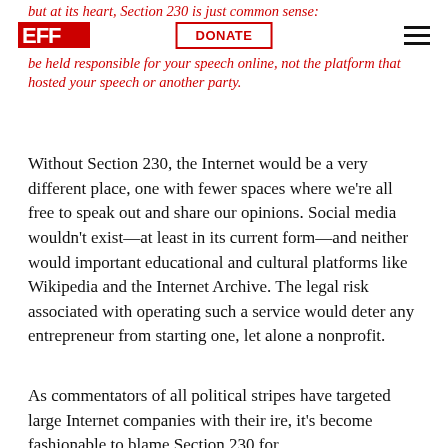but at its heart, Section 230 is just common sense: [EFF logo] [DONATE button] be held responsible for your speech online, not the platform that hosted your speech or another party.
Without Section 230, the Internet would be a very different place, one with fewer spaces where we're all free to speak out and share our opinions. Social media wouldn't exist—at least in its current form—and neither would important educational and cultural platforms like Wikipedia and the Internet Archive. The legal risk associated with operating such a service would deter any entrepreneur from starting one, let alone a nonprofit.
As commentators of all political stripes have targeted large Internet companies with their ire, it's become fashionable to blame Section 230 for